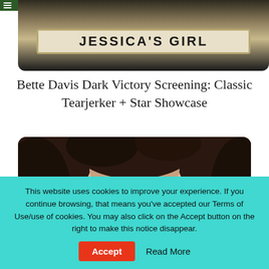[Figure (photo): Jessica's Girl website header banner with a sign reading JESSICA'S GIRL in bold art-deco lettering on a light background, cropped inside a dark rounded container]
Bette Davis Dark Victory Screening: Classic Tearjerker + Star Showcase
[Figure (photo): Close-up portrait photo of a young woman with long dark auburn hair and a serious expression, looking directly at the camera]
This website uses cookies to improve your experience. If you continue browsing, that means you've accepted our Terms of Use/use of cookies. You may also click on the Accept button on the right to make this notice disappear.